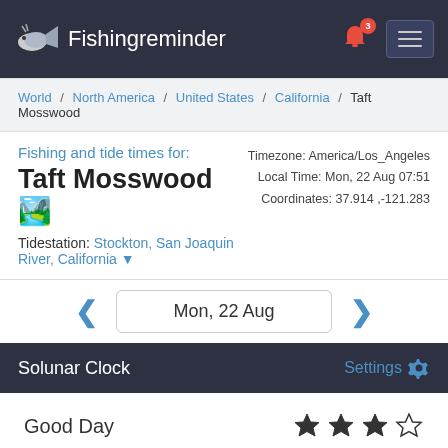Fishingreminder
World / North America / United States / California / Taft Mosswood
Fishing and tide times for:
Taft Mosswood
Timezone: America/Los_Angeles
Local Time: Mon, 22 Aug 07:51
Coordinates: 37.914 ,-121.283
Tidestation: Stockton, San Joaquin River, California
Mon, 22 Aug
Solunar Clock
Settings
Good Day